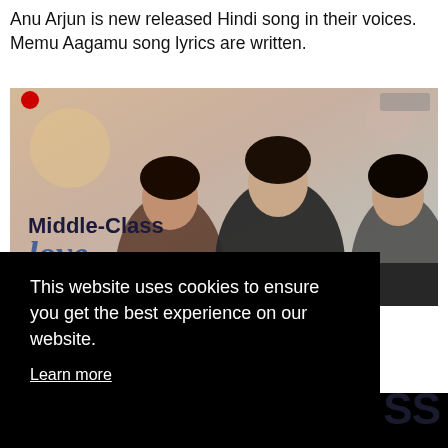Anu Arjun is new released Hindi song in their voices. Memu Aagamu song lyrics are written.
[Figure (photo): Movie poster/thumbnail for 'Middle-Class Love' showing three young actors - two women and a man in the center, with the film title overlaid on the left side. YouTube music channel branding visible.]
This website uses cookies to ensure you get the best experience on our website.
Learn more
Got it!
SS